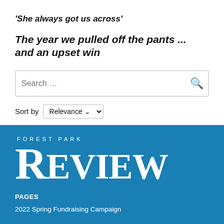'She always got us across'
The year we pulled off the pants ... and an upset win
Search …
Sort by Relevance
[Figure (logo): Forest Park Review logo in white text on blue background, with 'FOREST PARK' in small spaced caps above large serif 'REVIEW']
PAGES
2022 Spring Fundraising Campaign